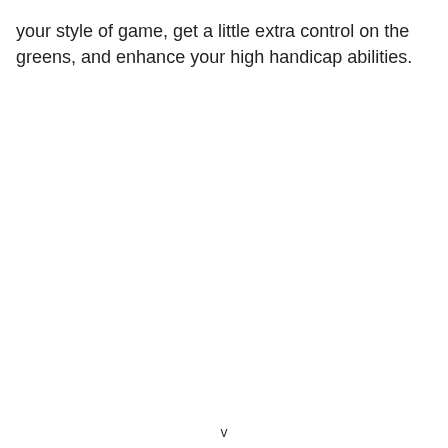your style of game, get a little extra control on the greens, and enhance your high handicap abilities.
v